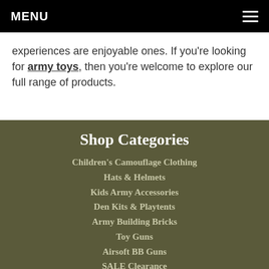MENU
experiences are enjoyable ones. If you're looking for army toys, then you're welcome to explore our full range of products.
Shop Categories
Children's Camouflage Clothing
Hats & Helmets
Kids Army Accessories
Den Kits & Playtents
Army Building Bricks
Toy Guns
Airsoft BB Guns
SALE Clearance